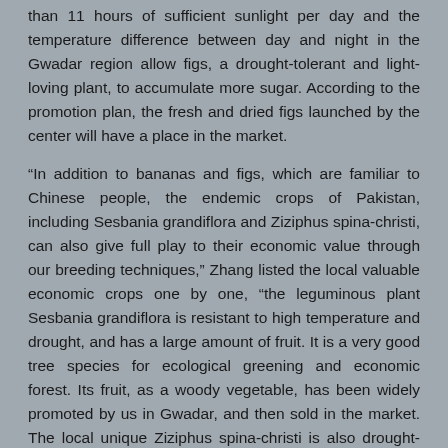than 11 hours of sufficient sunlight per day and the temperature difference between day and night in the Gwadar region allow figs, a drought-tolerant and light-loving plant, to accumulate more sugar. According to the promotion plan, the fresh and dried figs launched by the center will have a place in the market.
“In addition to bananas and figs, which are familiar to Chinese people, the endemic crops of Pakistan, including Sesbania grandiflora and Ziziphus spina-christi, can also give full play to their economic value through our breeding techniques,” Zhang listed the local valuable economic crops one by one, “the leguminous plant Sesbania grandiflora is resistant to high temperature and drought, and has a large amount of fruit. It is a very good tree species for ecological greening and economic forest. Its fruit, as a woody vegetable, has been widely promoted by us in Gwadar, and then sold in the market. The local unique Ziziphus spina-christi is also drought-tolerant and light-loving, which can bear fruit several times a year. The seedling breeding, fresh fruit sales and juice processing of it have also been put on the agenda.”